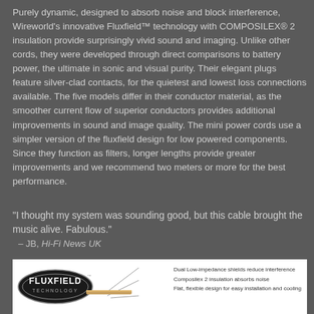Purely dynamic, designed to absorb noise and block interference, Wireworld's innovative Fluxfield™ technology with COMPOSILEX® 2 insulation provide surprisingly vivid sound and imaging. Unlike other cords, they were developed through direct comparisons to battery power, the ultimate in sonic and visual purity. Their elegant plugs feature silver-clad contacts, for the quietest and lowest loss connections available. The five models differ in their conductor material, as the smoother current flow of superior conductors provides additional improvements in sound and image quality. The mini power cords use a simpler version of the fluxfield design for low powered components. Since they function as filters, longer lengths provide greater improvements and we recommend two meters or more for the best performance.
"I thought my system was sounding good, but this cable brought the music alive. Fabulous."
  – JB, Hi-Fi News UK
[Figure (illustration): Fluxfield Technology diagram showing a cross-section of a power cable with annotations: 'Dual Low-impedance shields reduce interference', 'Composilex 2 insulation absorbs noise', 'Flat, flexible design for easy installation and cooling'. The Fluxfield Technology logo (oval badge with FLUXFIELD text) is on the left.]